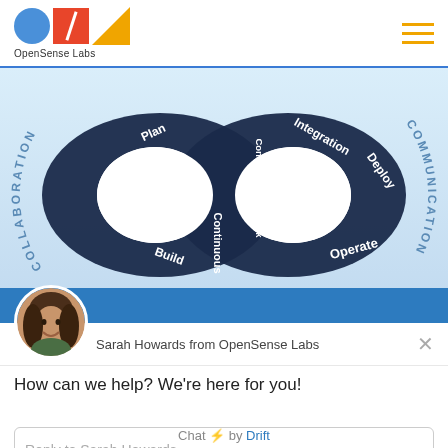[Figure (logo): OpenSense Labs logo with blue circle, red square with slash, orange triangle, and text 'OpenSense Labs' below]
[Figure (infographic): DevOps infinity loop diagram with dark navy arrows forming a figure-8, labeled sections: Plan, Continuous Feedback, Integration, Deploy, Operate, Continuous, Build on the loop; COLLABORATION on the left arc and COMMUNICATION on the right arc]
[Figure (screenshot): Drift chat widget showing Sarah Howards from OpenSense Labs with avatar photo, message 'How can we help? We're here for you!', reply input field, and 'Chat by Drift' footer]
Sarah Howards from OpenSense Labs
How can we help? We're here for you!
Reply to Sarah Howards
Chat ⚡ by Drift